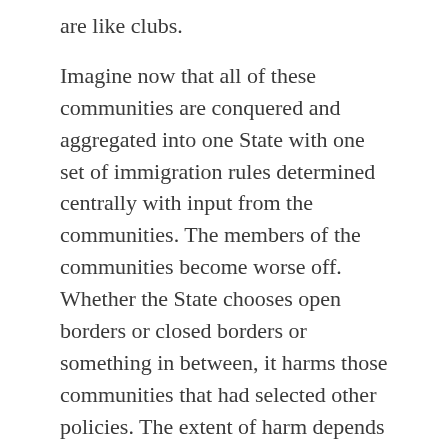are like clubs. Imagine now that all of these communities are conquered and aggregated into one State with one set of immigration rules determined centrally with input from the communities. The members of the communities become worse off. Whether the State chooses open borders or closed borders or something in between, it harms those communities that had selected other policies. The extent of harm depends on the value of the impositions that the lack of or the excess of immigrants bring. Those whom the State does not immediately harm will eventually be harmed because changes in the community's preferences will almost surely not be mirrored in changes in the State's laws and internal migrations of